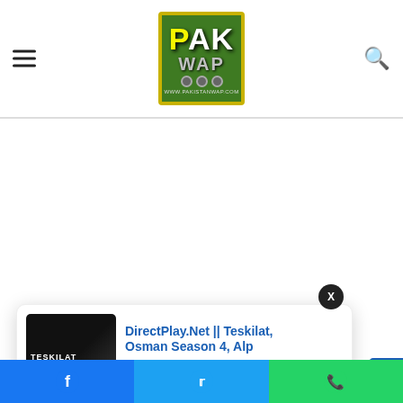PAK WAP - www.pakistanwap.com
[Figure (screenshot): Advertisement / blank white space area]
[Figure (screenshot): X close button (dark circle with X)]
[Figure (screenshot): Popup notification card with thumbnail of Teskilat show, title: DirectPlay.Net || Teskilat, Osman Season 4, Alp, time: 47 minutes ago]
the full details of
[Figure (screenshot): Scroll to top button (blue, right side)]
[Figure (screenshot): Bottom share bar with Facebook, Twitter, WhatsApp icons]